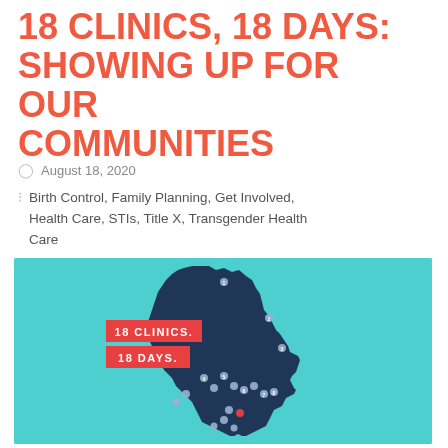18 CLINICS, 18 DAYS: SHOWING UP FOR OUR COMMUNITIES
August 18, 2020
Birth Control, Family Planning, Get Involved, Health Care, STIs, Title X, Transgender Health Care
[Figure (map): Map of Maine in dark navy on teal/cyan background, with numbered location dots marking 18 clinic locations across the state. Two red label boxes overlay the map reading '18 CLINICS.' and '18 DAYS.']